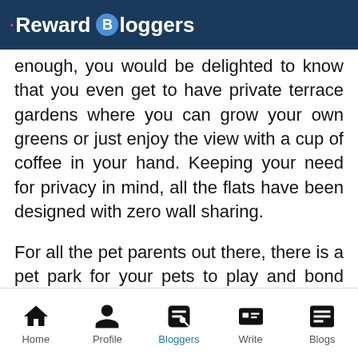Reward Bloggers
enough, you would be delighted to know that you even get to have private terrace gardens where you can grow your own greens or just enjoy the view with a cup of coffee in your hand. Keeping your need for privacy in mind, all the flats have been designed with zero wall sharing.
For all the pet parents out there, there is a pet park for your pets to play and bond with their playmates. There is also a senior citizen's corner where the elderly can exercise or bond with other like-minded people. Bidding adieu to
Home | Profile | Bloggers | Write | Blogs